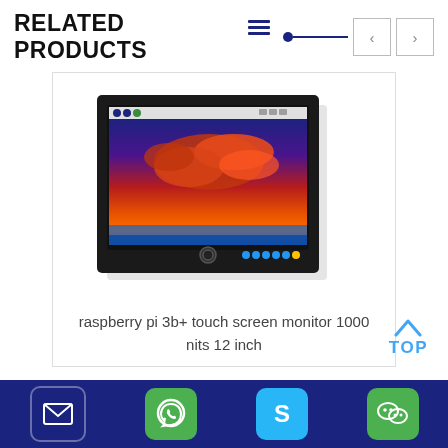RELATED PRODUCTS
[Figure (screenshot): A product card showing a Raspberry Pi 3b+ touch screen monitor with a black bezel displaying a sunset wallpaper. Navigation arrows and hamburger menu icon in upper right. TOPbutton on right side.]
raspberry berry pi 3b+ touch screen monitor 1000 nits 12 inch
[Figure (infographic): Footer bar with four social/contact icons: email (envelope), WhatsApp, Skype, WeChat on dark blue background]